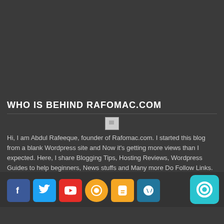WHO IS BEHIND RAFOMAC.COM
[Figure (photo): Broken/placeholder avatar image centered below the section header]
Hi, I am Abdul Rafeeque, founder of Rafomac.com. I started this blog from a blank Wordpress site and Now it's getting more views than I expected. Here, I share Blogging Tips, Hosting Reviews, Wordpress Guides to help beginners, News stuffs and Many more Do Follow Links.
Contact me : rafomac@rafomac.com
SOCIAL MEDIA
[Figure (infographic): Row of 6 social media icon buttons: Facebook (blue), Twitter (light blue), YouTube (red), a circular orange icon, Blogger (orange), WordPress (blue). A teal/cyan chat bubble icon is in the bottom right corner.]